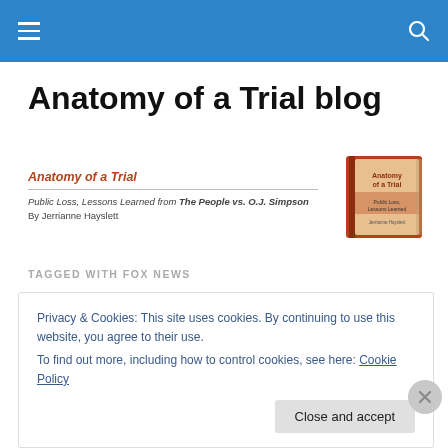Navigation bar with hamburger menu and search icon
Anatomy of a Trial blog
[Figure (illustration): Book cover image of 'Anatomy of a Trial' with subtitle 'Public Loss, Lessons Learned from The People vs. O.J. Simpson' by Jerrianne Hayslett]
Anatomy of a Trial
Public Loss, Lessons Learned from The People vs. O.J. Simpson
By Jerrianne Hayslett
TAGGED WITH FOX NEWS
Privacy & Cookies: This site uses cookies. By continuing to use this website, you agree to their use.
To find out more, including how to control cookies, see here: Cookie Policy
Close and accept